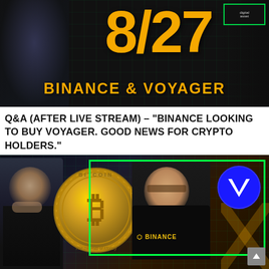[Figure (screenshot): YouTube thumbnail showing '8/27' in large orange text with 'BINANCE & VOYAGER' subtitle on dark background with a person on the left side]
Q&A (AFTER LIVE STREAM) – "BINANCE LOOKING TO BUY VOYAGER. GOOD NEWS FOR CRYPTO HOLDERS."
[Figure (screenshot): YouTube thumbnail showing a Bitcoin coin, a person in a Binance hoodie, the Voyager logo on a dark background with green border overlay, and a person on the left]